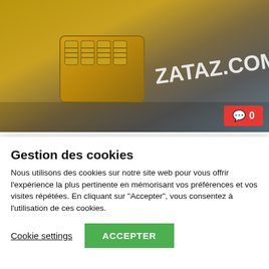[Figure (photo): Photo of a brass combination lock padlock on a surface with ZATAZ.COM branding visible]
Microsoft alertera ses utilisateurs en cas de
Gestion des cookies
Nous utilisons des cookies sur notre site web pour vous offrir l'expérience la plus pertinente en mémorisant vos préférences et vos visites répétées. En cliquant sur "Accepter", vous consentez à l'utilisation de ces cookies.
Cookie settings   ACCEPTER